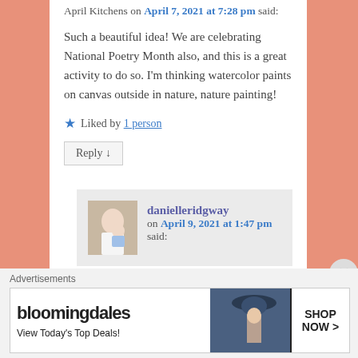April Kitchens on April 7, 2021 at 7:28 pm said:
Such a beautiful idea! We are celebrating National Poetry Month also, and this is a great activity to do so. I'm thinking watercolor paints on canvas outside in nature, nature painting!
Liked by 1 person
Reply ↓
danielleridgway on April 9, 2021 at 1:47 pm said:
Advertisements
[Figure (other): Bloomingdales advertisement banner: 'bloomingdales / View Today's Top Deals!' with a woman wearing a large hat and a 'SHOP NOW >' call to action button.]